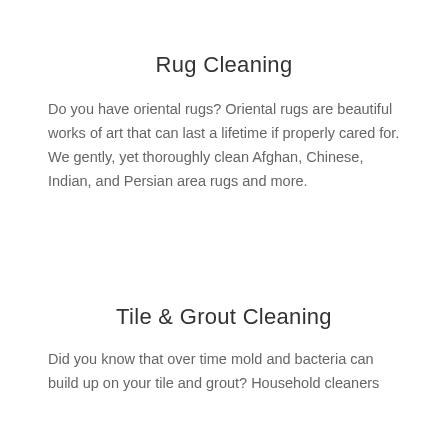Rug Cleaning
Do you have oriental rugs? Oriental rugs are beautiful works of art that can last a lifetime if properly cared for. We gently, yet thoroughly clean Afghan, Chinese, Indian, and Persian area rugs and more.
Tile & Grout Cleaning
Did you know that over time mold and bacteria can build up on your tile and grout? Household cleaners